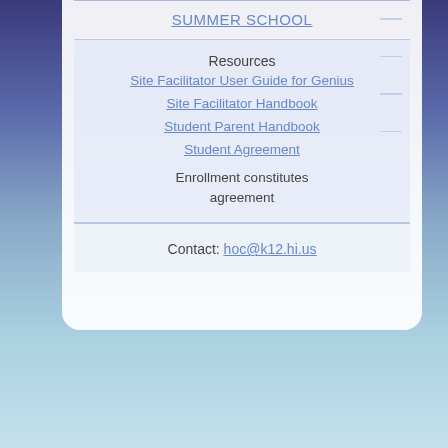SUMMER SCHOOL
Resources
Site Facilitator User Guide for Genius
Site Facilitator Handbook
Student Parent Handbook
Student Agreement
Enrollment constitutes agreement
Contact: hoc@k12.hi.us